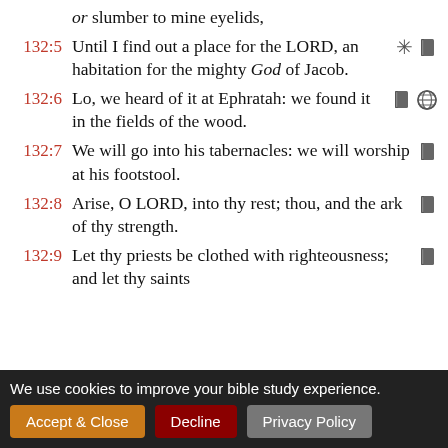or slumber to mine eyelids,
132:5 Until I find out a place for the LORD, an habitation for the mighty God of Jacob.
132:6 Lo, we heard of it at Ephratah: we found it in the fields of the wood.
132:7 We will go into his tabernacles: we will worship at his footstool.
132:8 Arise, O LORD, into thy rest; thou, and the ark of thy strength.
132:9 Let thy priests be clothed with righteousness; and let thy saints shout for joy.
We use cookies to improve your bible study experience. Accept & Close | Decline | Privacy Policy